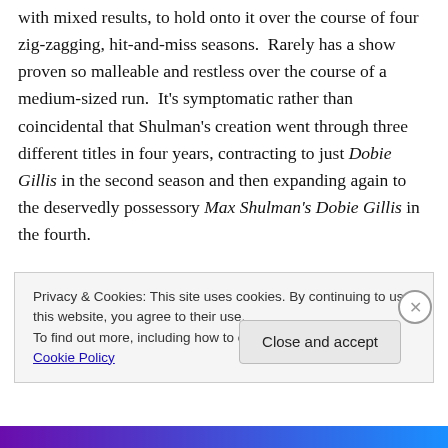with mixed results, to hold onto it over the course of four zig-zagging, hit-and-miss seasons.  Rarely has a show proven so malleable and restless over the course of a medium-sized run.  It's symptomatic rather than coincidental that Shulman's creation went through three different titles in four years, contracting to just Dobie Gillis in the second season and then expanding again to the deservedly possessory Max Shulman's Dobie Gillis in the fourth.
In its sophomore-slump second year, Dobie fell victim to a
Privacy & Cookies: This site uses cookies. By continuing to use this website, you agree to their use.
To find out more, including how to control cookies, see here: Cookie Policy